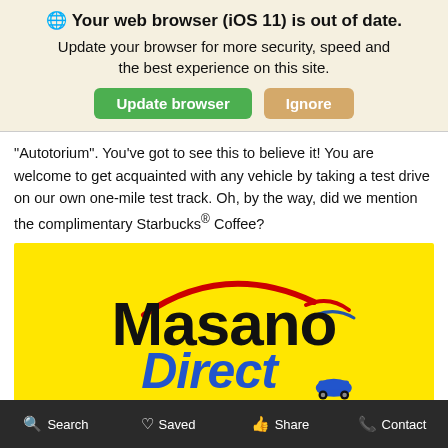🌐 Your web browser (iOS 11) is out of date. Update your browser for more security, speed and the best experience on this site. [Update browser] [Ignore]
"Autotorium". You've got to see this to believe it! You are welcome to get acquainted with any vehicle by taking a test drive on our own one-mile test track. Oh, by the way, did we mention the complimentary Starbucks® Coffee?
[Figure (logo): Masano Direct logo on yellow background — 'Masano' in large bold black text with a red arc above and a speed-line swoosh, 'Direct' in blue italic text with a small car icon]
Search   Saved   Share   Contact